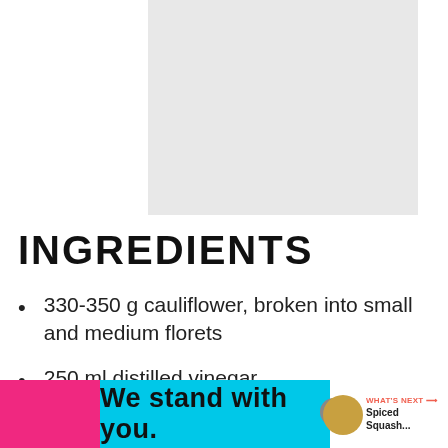[Figure (photo): Photo placeholder at top right, light gray background]
INGREDIENTS
330-350 g cauliflower, broken into small and medium florets
250 ml distilled vinegar
250 ml water
1/2 tsp mustard seeds
1/2 tsp coriander seeds
[Figure (other): Bottom advertisement bar: pink left section, cyan center with 'We stand with you.' text, close button, and 'What's Next - Spiced...' thumbnail on right]